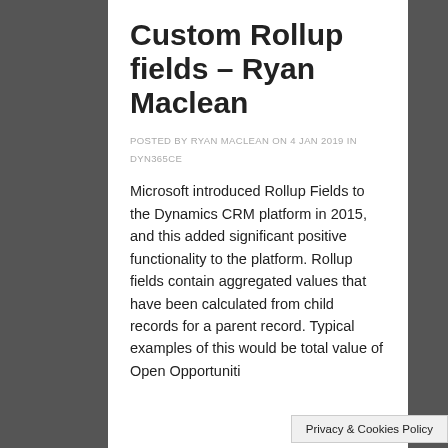Custom Rollup fields – Ryan Maclean
POSTED BY RYAN MACLEAN ON 4 JAN 2019 IN DYN365CE
Microsoft introduced Rollup Fields to the Dynamics CRM platform in 2015, and this added significant positive functionality to the platform. Rollup fields contain aggregated values that have been calculated from child records for a parent record. Typical examples of this would be total value of Open Opportuniti…
Privacy & Cookies Policy